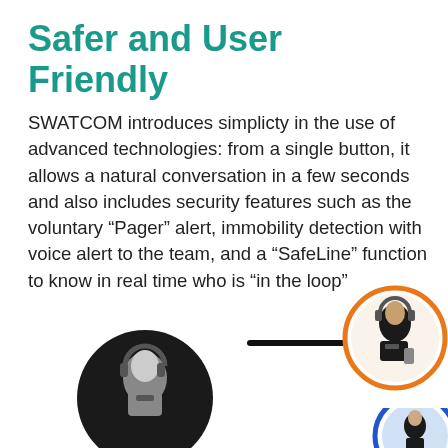Safer and User Friendly
SWATCOM introduces simplicty in the use of advanced technologies: from a single button, it allows a natural conversation in a few seconds and also includes security features such as the voluntary “Pager” alert, immobility detection with voice alert to the team, and a “SafeLine” function to know in real time who is “in the loop”
[Figure (infographic): Infographic showing two circular icons of operators with headsets connected by a large arrow pointing right. Left icon is black/dark with a person using a handheld radio and headset. Right icon at top-right has orange circle border with similar operator icon. A partial blue circle icon is visible at bottom-right.]